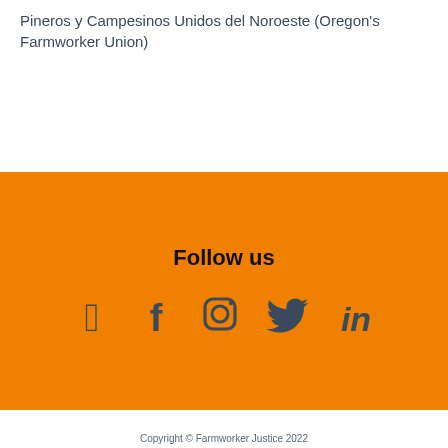Pineros y Campesinos Unidos del Noroeste (Oregon's Farmworker Union)
Follow us
[Figure (infographic): Social media icons: Facebook, Instagram, Twitter, LinkedIn on orange background]
Copyright © Farmworker Justice 2022